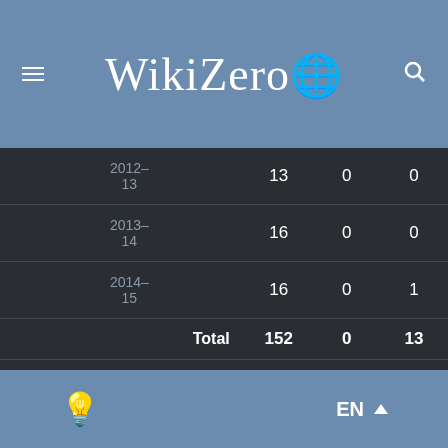WikiZero
| Club | Season | League | Apps | Goals | Assists |
| --- | --- | --- | --- | --- | --- |
|  | 2012-13 |  | 13 | 0 | 0 |
|  | 2013-14 |  | 16 | 0 | 0 |
|  | 2014-15 |  | 16 | 0 | 1 |
| Total |  |  | 152 | 0 | 13 |
| Villarreal | 2015-16 | La Liga | 14 | 0 | 0 |
EN